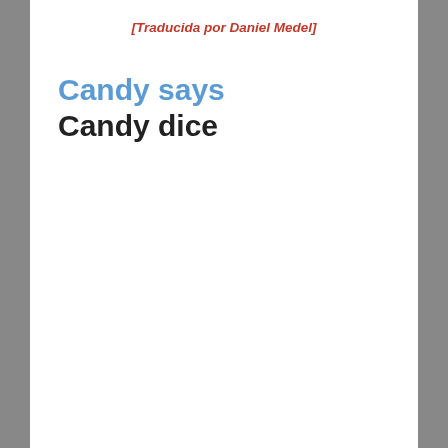[Traducida por Daniel Medel]
Candy says
Candy dice